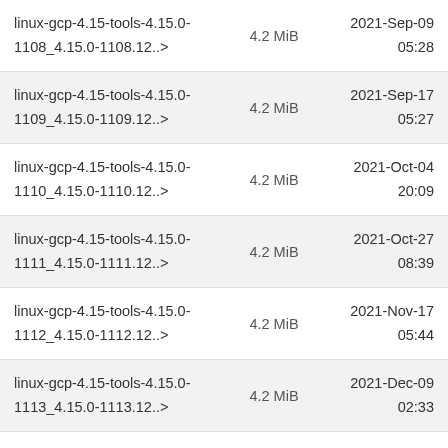| Name | Size | Date |
| --- | --- | --- |
| linux-gcp-4.15-tools-4.15.0-1108_4.15.0-1108.12..> | 4.2 MiB | 2021-Sep-09 05:28 |
| linux-gcp-4.15-tools-4.15.0-1109_4.15.0-1109.12..> | 4.2 MiB | 2021-Sep-17 05:27 |
| linux-gcp-4.15-tools-4.15.0-1110_4.15.0-1110.12..> | 4.2 MiB | 2021-Oct-04 20:09 |
| linux-gcp-4.15-tools-4.15.0-1111_4.15.0-1111.12..> | 4.2 MiB | 2021-Oct-27 08:39 |
| linux-gcp-4.15-tools-4.15.0-1112_4.15.0-1112.12..> | 4.2 MiB | 2021-Nov-17 05:44 |
| linux-gcp-4.15-tools-4.15.0-1113_4.15.0-1113.12..> | 4.2 MiB | 2021-Dec-09 02:33 |